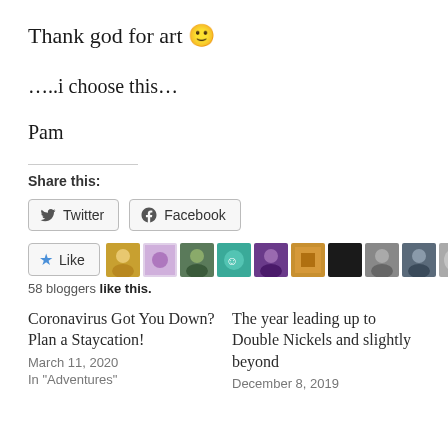Thank god for art 🙂
…..i choose this…
Pam
Share this:
Twitter  Facebook
[Figure (other): Like button with star icon, followed by 10 blogger avatar thumbnails]
58 bloggers like this.
Coronavirus Got You Down? Plan a Staycation!
March 11, 2020
In "Adventures"
The year leading up to Double Nickels and slightly beyond
December 8, 2019